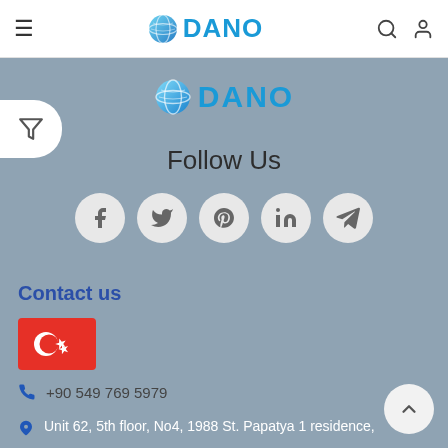≡ DANO 🔍 👤
[Figure (logo): DANO company logo with globe icon, centered in main content area]
Follow Us
[Figure (infographic): Five social media icon circles: Facebook, Twitter, Pinterest, LinkedIn, Telegram]
Contact us
[Figure (illustration): Turkish flag icon (red with white crescent and star)]
+90 549 769 5979
Unit 62, 5th floor, No4, 1988 St. Papatya 1 residence,